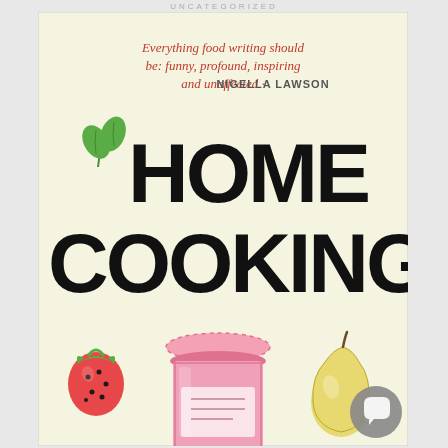UNCATEGORIZED
[Figure (illustration): Book cover for 'Home Cooking'. Cream/off-white background with hand-drawn style illustrations. Top has a quote in handwritten red script: 'Everything food writing should be: funny, profound, inspiring and unaffected' attributed to NIGELLA LAWSON in grey print. Title 'HOME COOKING' is in large black hand-drawn block letters. A green leaf sprig appears to the left of 'HOME'. Bottom section shows hand-drawn illustrations of a strawberry, a pink gingham-topped jam jar, and a pear. A grey circular chat button appears in the bottom right corner.]